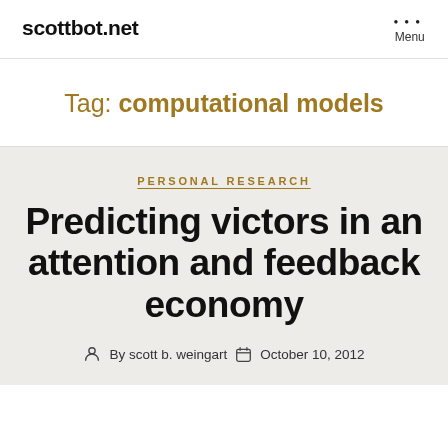scottbot.net
Tag: computational models
PERSONAL RESEARCH
Predicting victors in an attention and feedback economy
By scott b. weingart   October 10, 2012